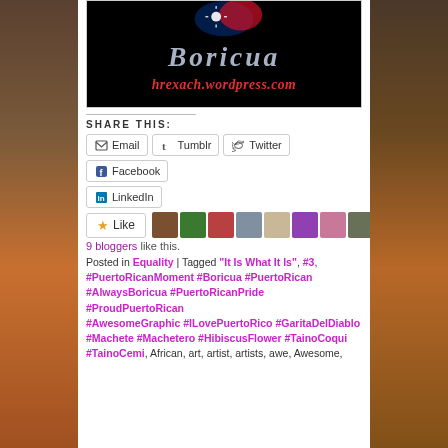[Figure (screenshot): Boricua blog logo image with text 'Boricua' and 'hrexach.wordpress.com' on black background]
SHARE THIS:
Email  Tumblr  Twitter  Facebook  LinkedIn
Like
9 bloggers like this.
Posted in Equality | Tagged "It Is What It Is", #3, #PuertoRicanMoment #Boricua #PuertoRican #AlwaysBoricua #PuertoRicanPride #ProudPuertoRican #AwesomeGraphic #ILovePuertoRico #GaritaDelDiablo #Machete #Machetero #HibiscusFlower #TainoCoqui #TainoCemi, African, art, artist, artists, awe, Awesome,